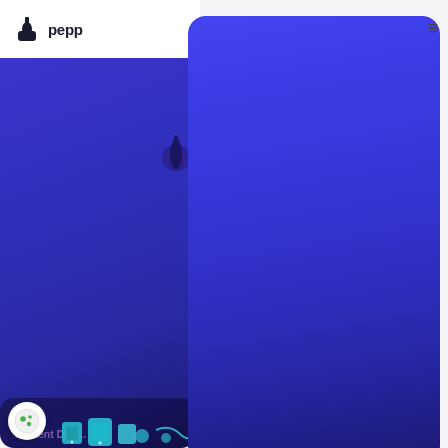pepper
[Figure (screenshot): Pepper content platform website screenshot showing logo, navigation, a large blue/indigo gradient card overlay, a blog post preview with category label 'Content Dist...', article title 'Content Top 6 D...', date '03/02/22', a cookie consent icon, and a bottom dark card with illustration]
Content Dist...
Content Top 6 D
03/02/22